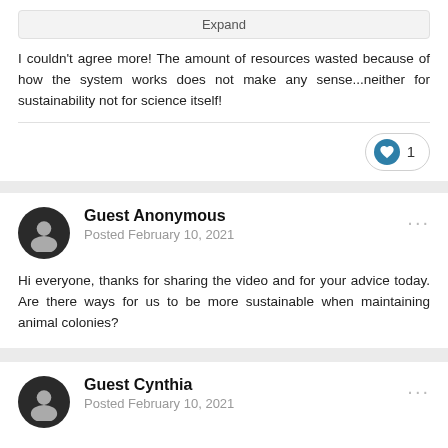Expand
I couldn't agree more! The amount of resources wasted because of how the system works does not make any sense...neither for sustainability not for science itself!
Guest Anonymous
Posted February 10, 2021
Hi everyone, thanks for sharing the video and for your advice today. Are there ways for us to be more sustainable when maintaining animal colonies?
Guest Cynthia
Posted February 10, 2021